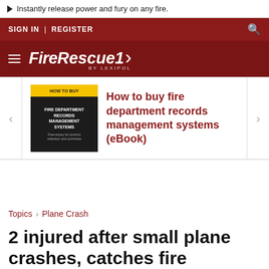▶ Instantly release power and fury on any fire.
SIGN IN | REGISTER
[Figure (logo): FireRescue1 by Lexipol logo on dark red background with hamburger menu]
[Figure (other): Promotional carousel showing eBook: How to buy fire department records management systems]
How to buy fire department records management systems (eBook)
Topics > Plane Crash
2 injured after small plane crashes, catches fire